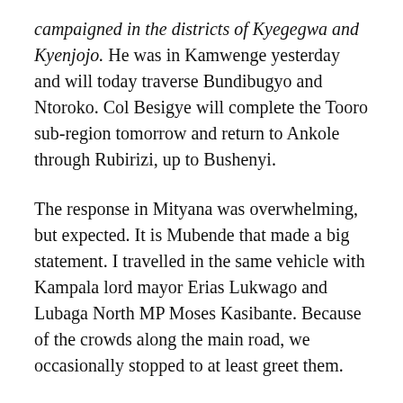campaigned in the districts of Kyegegwa and Kyenjojo. He was in Kamwenge yesterday and will today traverse Bundibugyo and Ntoroko. Col Besigye will complete the Tooro sub-region tomorrow and return to Ankole through Rubirizi, up to Bushenyi.
The response in Mityana was overwhelming, but expected. It is Mubende that made a big statement. I travelled in the same vehicle with Kampala lord mayor Erias Lukwago and Lubaga North MP Moses Kasibante. Because of the crowds along the main road, we occasionally stopped to at least greet them.
A senior NRM leader from Mubende later